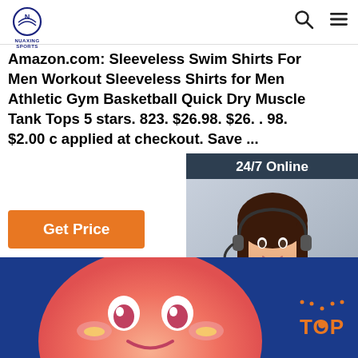[Figure (logo): NUAXING SPORTS logo in header - circular emblem with text below]
[Figure (screenshot): Search icon and hamburger menu icon in header]
Amazon.com: Sleeveless Swim Shirts For Men Workout Sleeveless Shirts for Men Athletic Gym Basketball Quick Dry Muscle Tank Tops 5 stars. 823. $26.98. $26. . 98. $2.00 c applied at checkout. Save ...
[Figure (photo): Get Price orange button]
[Figure (infographic): 24/7 Online chat widget with photo of woman wearing headset and Quotation button]
[Figure (illustration): Blue background with cute cartoon peach/blob character with rosy cheeks and smile, and TOP navigation button in orange]